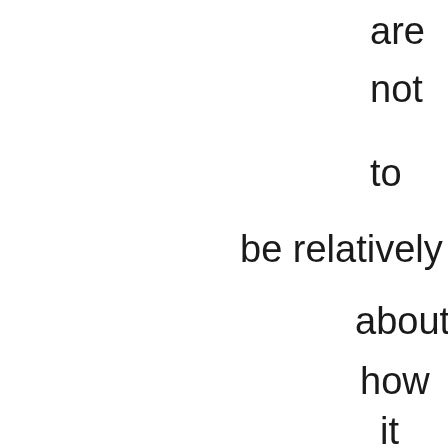are
not
to
be relatively uninfo
about
how
it
is
real